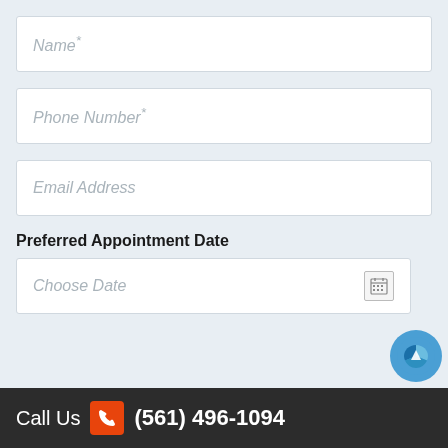Name*
Phone Number*
Email Address
Preferred Appointment Date
Choose Date
Call Us  (561) 496-1094